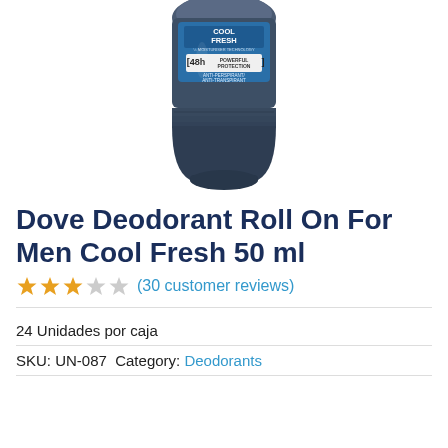[Figure (photo): Dove Deodorant Roll On for Men Cool Fresh 50ml product bottle — dark navy/grey roll-on deodorant with blue label showing COOL FRESH, 48h Powerful Protection, Anti-Perspirant/Anti-Transpirant text]
Dove Deodorant Roll On For Men Cool Fresh 50 ml
★★★☆☆ (30 customer reviews)
24 Unidades por caja
SKU: UN-087  Category: Deodorants